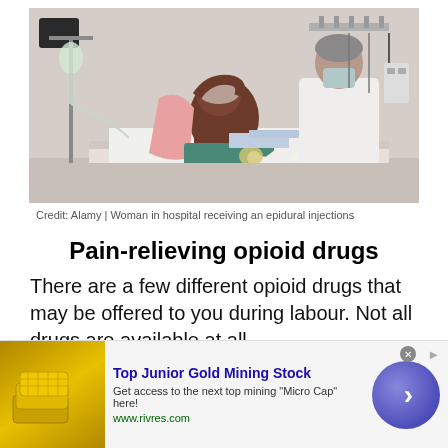[Figure (photo): A woman in a hospital gown and hair net sitting on a hospital bed, hunched forward, while a masked medical professional in a white coat performs an epidural injection procedure on her back. Medical equipment and IV stand visible in background.]
Credit: Alamy | Woman in hospital receiving an epidural injections
Pain-relieving opioid drugs
There are a few different opioid drugs that may be offered to you during labour. Not all drugs are available at all
[Figure (other): Advertisement banner: Top Junior Gold Mining Stock - Get access to the next top mining 'Micro Cap' here! www.rivres.com. Shows gold bars image on left and a blue arrow button on right.]